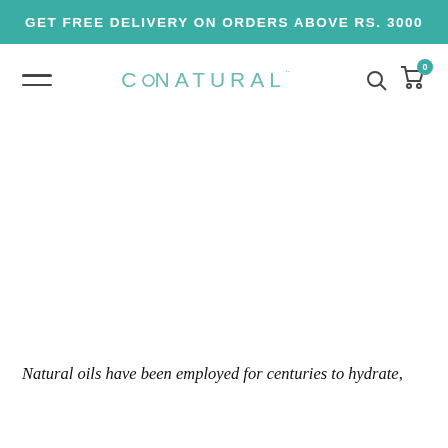GET FREE DELIVERY ON ORDERS ABOVE RS. 3000
[Figure (logo): CoNatural brand logo with navigation bar including hamburger menu, search icon, and cart icon with badge showing 0]
Natural oils have been employed for centuries to hydrate,